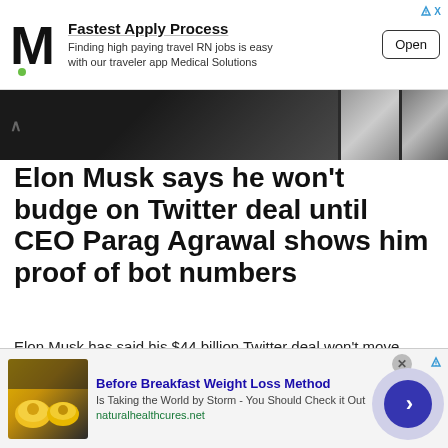[Figure (other): Mobile ad banner: M logo (Medical Solutions), headline 'Fastest Apply Process', body text 'Finding high paying travel RN jobs is easy with our traveler app Medical Solutions', Open button, close/adchoices icons]
[Figure (photo): Article header image strip showing a person in dark clothing and two smaller thumbnail images]
Elon Musk says he won't budge on Twitter deal until CEO Parag Agrawal shows him proof of bot numbers
Elon Musk has said his $44 billion Twitter deal won't move forward until the company's CEO, Parag Agrawal, proves that fewer than 5% of the social media platform's users are fake
[Figure (other): Bottom advertisement: Before Breakfast Weight Loss Method. Is Taking the World by Storm - You Should Check it Out. naturalhealthcures.net. Image of lemons/food, circular arrow button.]